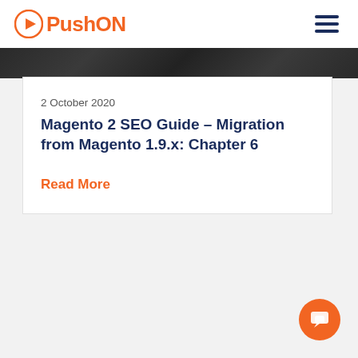PushON
2 October 2020
Magento 2 SEO Guide – Migration from Magento 1.9.x: Chapter 6
Read More